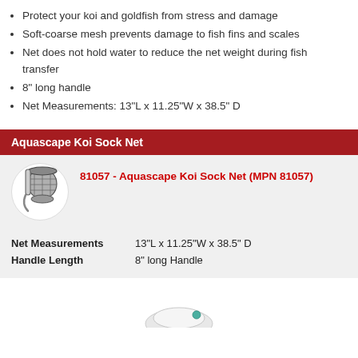Protect your koi and goldfish from stress and damage
Soft-coarse mesh prevents damage to fish fins and scales
Net does not hold water to reduce the net weight during fish transfer
8" long handle
Net Measurements: 13"L x 11.25"W x 38.5" D
Aquascape Koi Sock Net
81057 - Aquascape Koi Sock Net (MPN 81057)
| Attribute | Value |
| --- | --- |
| Net Measurements | 13"L x 11.25"W x 38.5" D |
| Handle Length | 8" long Handle |
[Figure (photo): Partial view of a white product at the bottom of the page]